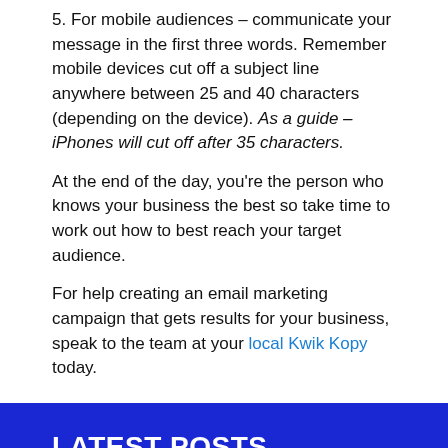5. For mobile audiences – communicate your message in the first three words. Remember mobile devices cut off a subject line anywhere between 25 and 40 characters (depending on the device). As a guide – iPhones will cut off after 35 characters.
At the end of the day, you're the person who knows your business the best so take time to work out how to best reach your target audience.
For help creating an email marketing campaign that gets results for your business, speak to the team at your local Kwik Kopy today.
LATEST POSTS
Using neuromarketing to improve customer experience